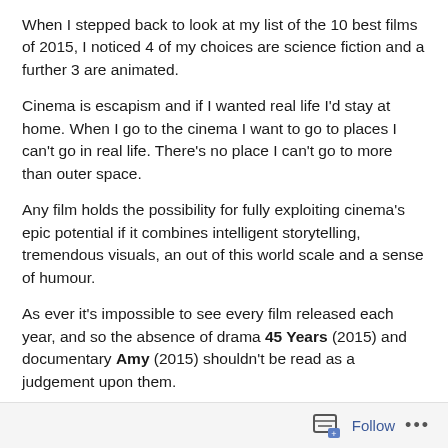When I stepped back to look at my list of the 10 best films of 2015, I noticed 4 of my choices are science fiction and a further 3 are animated.
Cinema is escapism and if I wanted real life I'd stay at home. When I go to the cinema I want to go to places I can't go in real life. There's no place I can't go to more than outer space.
Any film holds the possibility for fully exploiting cinema's epic potential if it combines intelligent storytelling, tremendous visuals, an out of this world scale and a sense of humour.
As ever it's impossible to see every film released each year, and so the absence of drama 45 Years (2015) and documentary Amy (2015) shouldn't be read as a judgement upon them.
However the absence of probably Oscar contender Carol (2015) is deliberate. You can read about here.
Follow ...